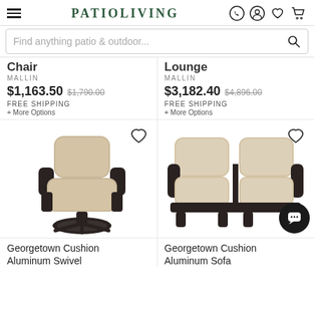PATIOLIVING
Find anything patio & outdoor...
Chair
MALLIN
$1,163.50 $1,790.00
FREE SHIPPING
+ More Options
Lounge
MALLIN
$3,182.40 $4,896.00
FREE SHIPPING
+ More Options
[Figure (photo): Patio swivel chair with dark aluminum frame and tan/beige cushions]
[Figure (photo): Patio sofa loveseat with dark aluminum frame and tan/beige cushions]
Georgetown Cushion Aluminum Swivel
Georgetown Cushion Aluminum Sofa